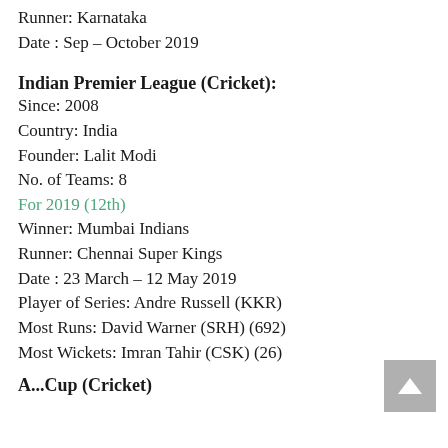Runner: Karnataka
Date : Sep – October 2019
Indian Premier League (Cricket):
Since: 2008
Country: India
Founder: Lalit Modi
No. of Teams: 8
For 2019 (12th)
Winner: Mumbai Indians
Runner: Chennai Super Kings
Date : 23 March – 12 May 2019
Player of Series: Andre Russell (KKR)
Most Runs: David Warner (SRH) (692)
Most Wickets: Imran Tahir (CSK) (26)
A...Cup (Cricket)